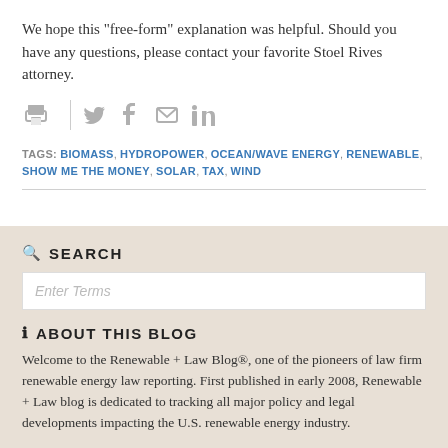We hope this "free-form" explanation was helpful. Should you have any questions, please contact your favorite Stoel Rives attorney.
[Figure (infographic): Social sharing icons: print, divider, Twitter, Facebook, email, LinkedIn - all in light gray]
TAGS: BIOMASS, HYDROPOWER, OCEAN/WAVE ENERGY, RENEWABLE, SHOW ME THE MONEY, SOLAR, TAX, WIND
SEARCH
Enter Terms
ABOUT THIS BLOG
Welcome to the Renewable + Law Blog®, one of the pioneers of law firm renewable energy law reporting. First published in early 2008, Renewable + Law blog is dedicated to tracking all major policy and legal developments impacting the U.S. renewable energy industry.